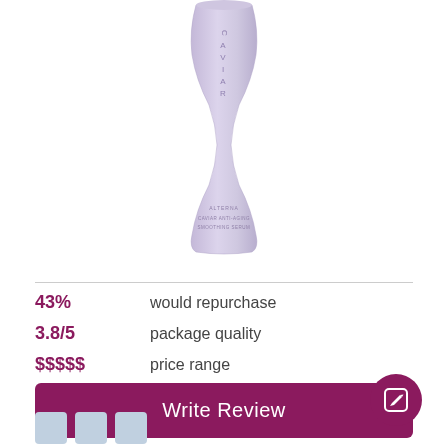[Figure (photo): Lavender/purple hourglass-shaped perfume or haircare bottle with 'CAVIAR' text vertically on the bottle, product text at base, on white background]
43%  would repurchase
3.8/5  package quality
$$$$$  price range
Write Review